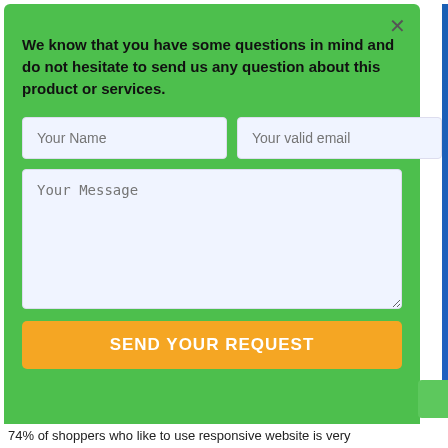[Figure (screenshot): A green modal dialog/popup form with a close (×) button, a bold black text prompt, two input fields ('Your Name' and 'Your valid email'), a large text area ('Your Message'), and an orange 'SEND YOUR REQUEST' button. A blue vertical scrollbar is partially visible on the right edge.]
We know that you have some questions in mind and do not hesitate to send us any question about this product or services.
74% of shoppers who like to use responsive website is very